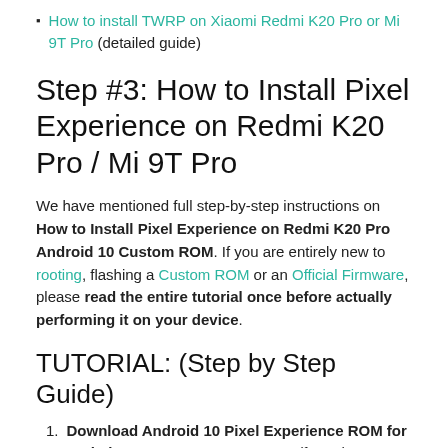How to install TWRP on Xiaomi Redmi K20 Pro or Mi 9T Pro (detailed guide)
Step #3: How to Install Pixel Experience on Redmi K20 Pro / Mi 9T Pro
We have mentioned full step-by-step instructions on How to Install Pixel Experience on Redmi K20 Pro Android 10 Custom ROM. If you are entirely new to rooting, flashing a Custom ROM or an Official Firmware, please read the entire tutorial once before actually performing it on your device.
TUTORIAL: (Step by Step Guide)
Download Android 10 Pixel Experience ROM for Redmi K20 Pro on your computer (from the